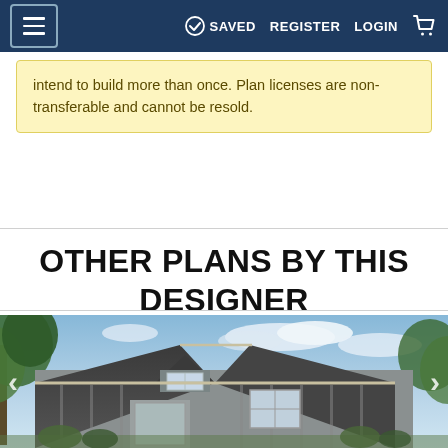≡  ✓ SAVED  REGISTER  LOGIN  🛒
intend to build more than once. Plan licenses are non-transferable and cannot be resold.
OTHER PLANS BY THIS DESIGNER
[Figure (photo): Exterior photo of a craftsman-style house with gray board-and-batten siding, steep gable roof, dormer window, and surrounding trees under a partly cloudy sky. Navigation arrows visible on left and right sides.]